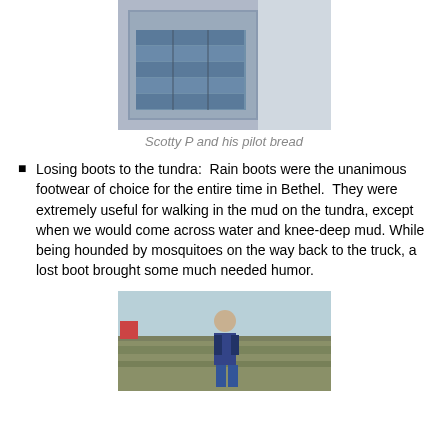[Figure (photo): Person standing next to a large pallet stacked with boxes of pilot bread in a warehouse or storage facility]
Scotty P and his pilot bread
Losing boots to the tundra:  Rain boots were the unanimous footwear of choice for the entire time in Bethel.  They were extremely useful for walking in the mud on the tundra, except when we would come across water and knee-deep mud. While being hounded by mosquitoes on the way back to the truck, a lost boot brought some much needed humor.
[Figure (photo): Person standing outdoors on tundra/grassland field, wearing a blue hoodie and jeans]